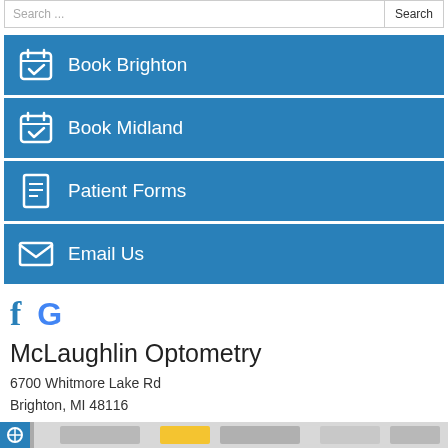Search ...
Book Brighton
Book Midland
Patient Forms
Email Us
[Figure (logo): Facebook and Google social media icons]
McLaughlin Optometry
6700 Whitmore Lake Rd
Brighton, MI 48116
Phone:
810-220-8953
[Figure (map): Google Maps strip at bottom of page]